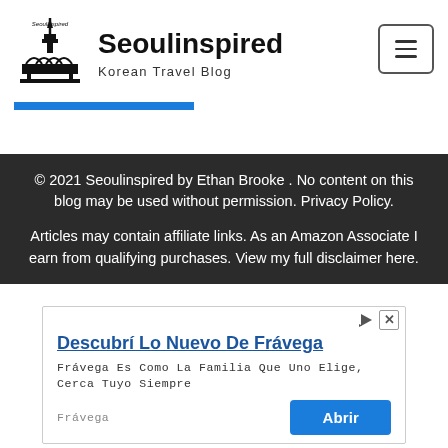[Figure (logo): Seoulinspired logo with stylized Seoul tower and arched bridge silhouette]
Seoulinspired
Korean Travel Blog
© 2021 Seoulinspired by Ethan Brooke . No content on this blog may be used without permission. Privacy Policy.

Articles may contain affiliate links. As an Amazon Associate I earn from qualifying purchases. View my full disclaimer here.
[Figure (screenshot): Advertisement banner for Frávega: headline 'Descubrí Lo Nuevo De Frávega', body text 'Frávega Es Como La Familia Que Uno Elige, Cerca Tuyo Siempre', brand label 'Frávega', and blue 'Abrir' button]